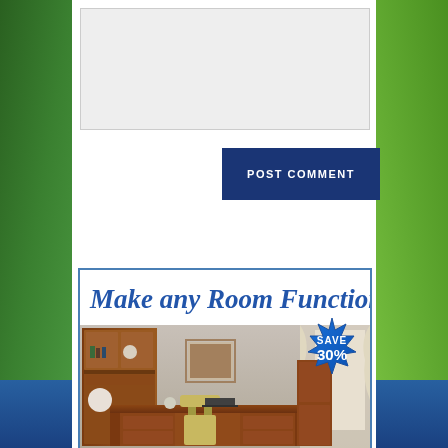[Figure (screenshot): Gray textarea / comment input box on white background]
[Figure (screenshot): Dark navy blue POST COMMENT button]
[Figure (infographic): Advertisement banner: Make any Room Functional with SAVE 30% badge over office furniture photo]